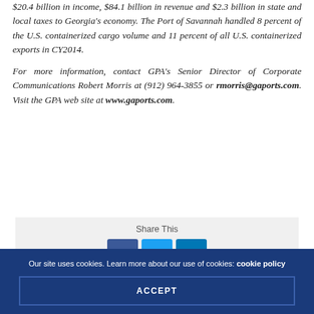$20.4 billion in income, $84.1 billion in revenue and $2.3 billion in state and local taxes to Georgia's economy. The Port of Savannah handled 8 percent of the U.S. containerized cargo volume and 11 percent of all U.S. containerized exports in CY2014.
For more information, contact GPA's Senior Director of Corporate Communications Robert Morris at (912) 964-3855 or rmorris@gaports.com. Visit the GPA web site at www.gaports.com.
[Figure (infographic): Share This section with Facebook, Twitter, and LinkedIn buttons on a light gray background]
Our site uses cookies. Learn more about our use of cookies: cookie policy
ACCEPT